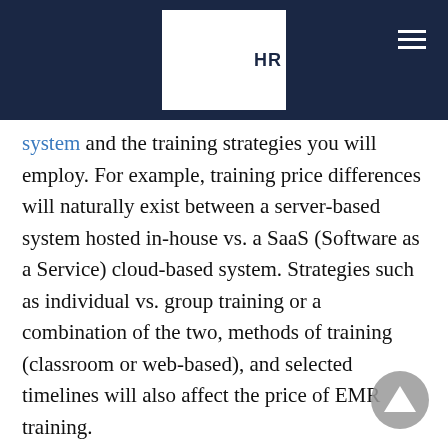HR [logo header bar]
system and the training strategies you will employ. For example, training price differences will naturally exist between a server-based system hosted in-house vs. a SaaS (Software as a Service) cloud-based system. Strategies such as individual vs. group training or a combination of the two, methods of training (classroom or web-based), and selected timelines will also affect the price of EMR training.